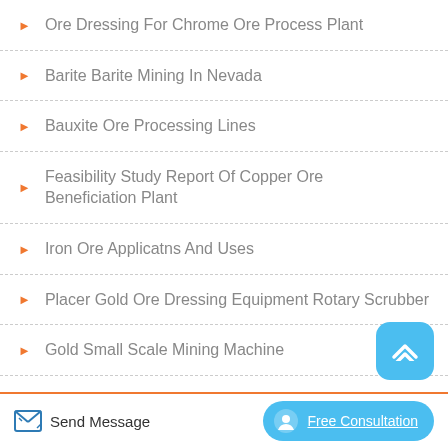Ore Dressing For Chrome Ore Process Plant
Barite Barite Mining In Nevada
Bauxite Ore Processing Lines
Feasibility Study Report Of Copper Ore Beneficiation Plant
Iron Ore Applicatns And Uses
Placer Gold Ore Dressing Equipment Rotary Scrubber
Gold Small Scale Mining Machine
Send Message   Free Consultation